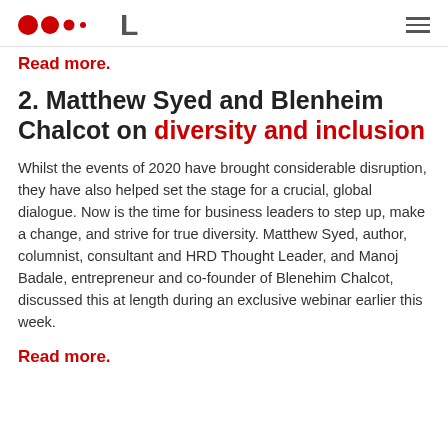[Logo: dots and L mark] [Hamburger menu]
Read more.
2. Matthew Syed and Blenheim Chalcot on diversity and inclusion
Whilst the events of 2020 have brought considerable disruption, they have also helped set the stage for a crucial, global dialogue. Now is the time for business leaders to step up, make a change, and strive for true diversity. Matthew Syed, author, columnist, consultant and HRD Thought Leader, and Manoj Badale, entrepreneur and co-founder of Blenehim Chalcot, discussed this at length during an exclusive webinar earlier this week.
Read more.